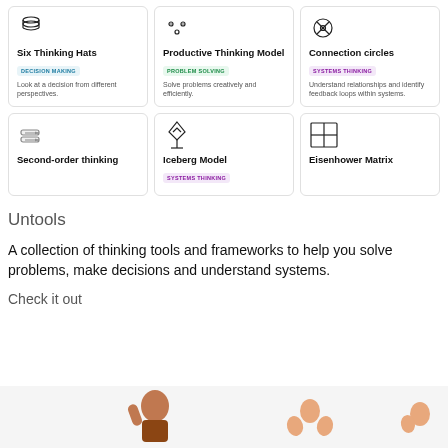[Figure (illustration): Card grid row 1: Six Thinking Hats (decision making), Productive Thinking Model (problem solving), Connection circles (systems thinking)]
[Figure (illustration): Card grid row 2: Second-order thinking, Iceberg Model (systems thinking), Eisenhower Matrix]
Untools
A collection of thinking tools and frameworks to help you solve problems, make decisions and understand systems.
Check it out
[Figure (illustration): Bottom section with illustrated characters/hands]